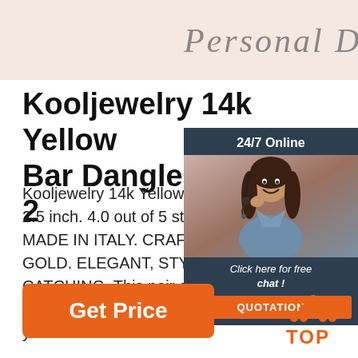[Figure (illustration): Top banner with cursive/script text reading 'Personal Details' or similar stylized script on a light pinkish-beige background]
Kooljewelry 14k Yellow Gold Bar Dangle Earrings, 2
Kooljewelry 14k Yellow Gold Bar Dangle Earrings, 2.5 inch. 4.0 out of 5 stars. 8 ratings. Pr... MADE IN ITALY. CRAFTED IN 14K YELLOW GOLD. ELEGANT, STYLISH, AND SIMPLE EYE-CATCHING. This pair of long dangle earrings showcases a bar design that flawlessly... you do.
[Figure (infographic): Chat widget overlay on right side showing '24/7 Online' header in dark navy, photo of woman with headset smiling, 'Click here for free chat!' text, and orange QUOTATION button]
[Figure (illustration): Orange 'Get Price' button at bottom left]
[Figure (illustration): TOP button with orange dots arranged in triangle/arrow shape and orange TOP text at bottom right]